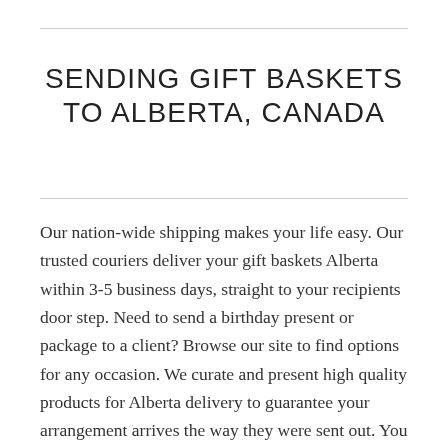SENDING GIFT BASKETS TO ALBERTA, CANADA
Our nation-wide shipping makes your life easy. Our trusted couriers deliver your gift baskets Alberta within 3-5 business days, straight to your recipients door step. Need to send a birthday present or package to a client? Browse our site to find options for any occasion. We curate and present high quality products for Alberta delivery to guarantee your arrangement arrives the way they were sent out. You can trust us with all your